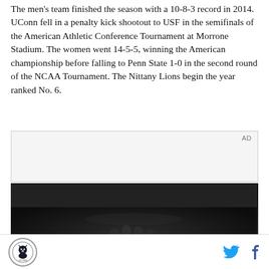The men's team finished the season with a 10-8-3 record in 2014. UConn fell in a penalty kick shootout to USF in the semifinals of the American Athletic Conference Tournament at Morrone Stadium. The women went 14-5-5, winning the American championship before falling to Penn State 1-0 in the second round of the NCAA Tournament. The Nittany Lions begin the year ranked No. 6.
[Figure (other): Advertisement box with 'AD' label and a dark photo below showing a person's hand on a car interior/steering wheel in low light]
Logo icon and social media icons (Twitter bird and Facebook f)